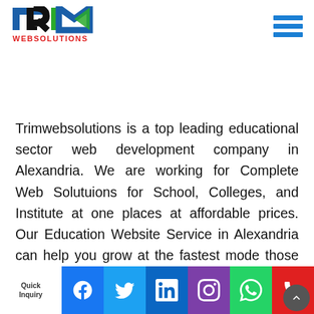[Figure (logo): TRIM WEBSOLUTIONS logo with colorful letter marks and red WEBSOLUTIONS text below]
[Figure (other): Hamburger menu icon — three horizontal blue bars]
Trimwebsolutions is a top leading educational sector web development company in Alexandria. We are working for Complete Web Solutuions for School, Colleges, and Institute at one places at affordable prices. Our Education Website Service in Alexandria can help you grow at the fastest mod... hose peo... your
[Figure (other): Social media bar at bottom: Facebook (blue), Twitter (cyan/blue), LinkedIn (blue), Instagram (purple), WhatsApp (green), Phone (red). Quick Inquiry label on left, scroll-up button bottom right.]